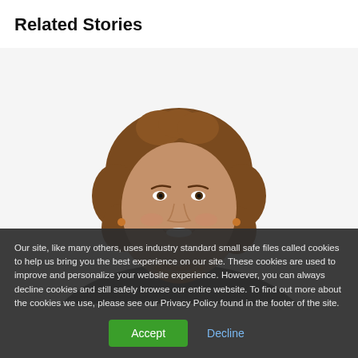Related Stories
[Figure (photo): Headshot of a smiling woman with curly brown hair wearing a dark blazer and an orange/amber beaded necklace, photographed against a white background.]
Our site, like many others, uses industry standard small safe files called cookies to help us bring you the best experience on our site. These cookies are used to improve and personalize your website experience. However, you can always decline cookies and still safely browse our entire website. To find out more about the cookies we use, please see our Privacy Policy found in the footer of the site.
Accept   Decline